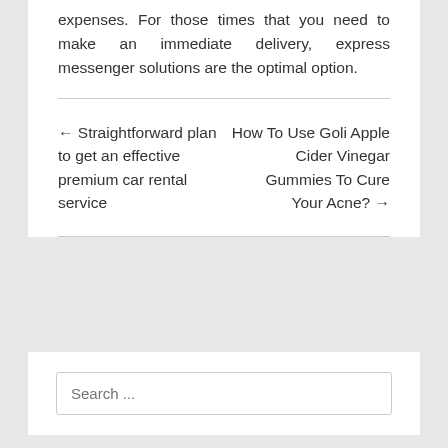expenses. For those times that you need to make an immediate delivery, express messenger solutions are the optimal option.
← Straightforward plan to get an effective premium car rental service
How To Use Goli Apple Cider Vinegar Gummies To Cure Your Acne? →
Search ...